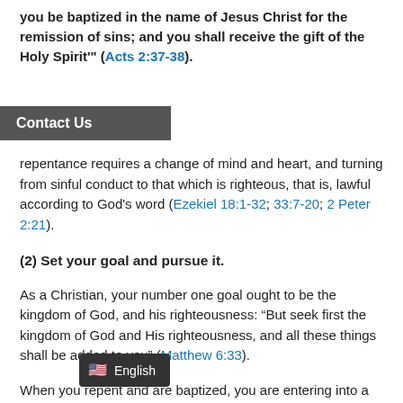you be baptized in the name of Jesus Christ for the remission of sins; and you shall receive the gift of the Holy Spirit'" (Acts 2:37-38).
repentance requires a change of mind and heart, and turning from sinful conduct to that which is righteous, that is, lawful according to God's word (Ezekiel 18:1-32; 33:7-20; 2 Peter 2:21).
(2) Set your goal and pursue it.
As a Christian, your number one goal ought to be the kingdom of God, and his righteousness: “But seek first the kingdom of God and His righteousness, and all these things shall be added to you” (Matthew 6:33).
When you repent and are baptized, you are entering into a covenant relationship with God. Typified by the Old Covenant with Israel, entering into this covenant implies faith toward God and obedience to his laws.
Th... God told the people of Israel after he brought